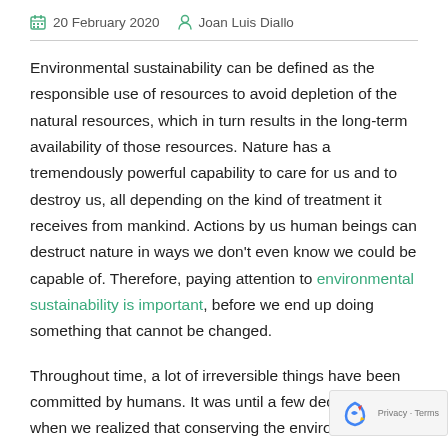20 February 2020   Joan Luis Diallo
Environmental sustainability can be defined as the responsible use of resources to avoid depletion of the natural resources, which in turn results in the long-term availability of those resources. Nature has a tremendously powerful capability to care for us and to destroy us, all depending on the kind of treatment it receives from mankind. Actions by us human beings can destruct nature in ways we don't even know we could be capable of. Therefore, paying attention to environmental sustainability is important, before we end up doing something that cannot be changed.
Throughout time, a lot of irreversible things have been committed by humans. It was until a few decades ago when we realized that conserving the environment was more important than anything. Through sustainability, more efficiency and less waste need to become the pulse of all activities involving the environment. Here are 5 reasons why